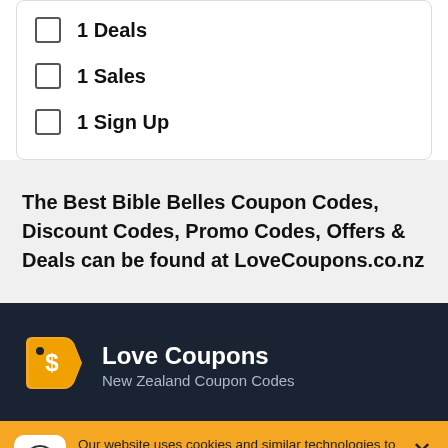1 Deals
1 Sales
1 Sign Up
The Best Bible Belles Coupon Codes, Discount Codes, Promo Codes, Offers & Deals can be found at LoveCoupons.co.nz
[Figure (logo): Love Coupons price tag logo with dollar sign]
Love Coupons
New Zealand Coupon Codes
Our website uses cookies and similar technologies to enhance your experience with us. By continuing to use LoveCoupons.co.nz you agree to the use of these technologies. Read more.